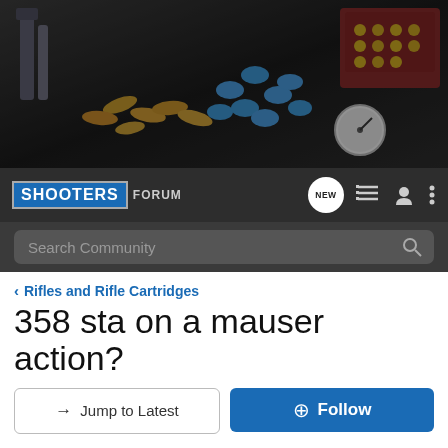[Figure (photo): Banner photo of reloading supplies: bullet dies, brass cartridges, blue bullets, and ammunition boxes on a gray surface]
SHOOTERS FORUM
Search Community
< Rifles and Rifle Cartridges
358 sta on a mauser action?
→ Jump to Latest
+ Follow
1 - 5 of 5 Posts
tkbigbore · Registered 🇺🇸
Joined Feb 6, 2010 · 483 Posts